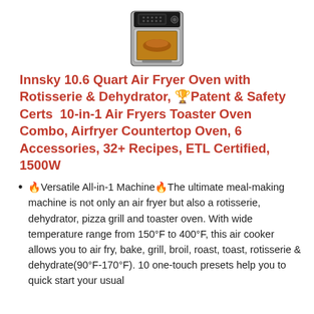[Figure (photo): Photo of Innsky air fryer oven appliance, black and silver square countertop oven with digital display panel on top and glass door showing food inside.]
Innsky 10.6 Quart Air Fryer Oven with Rotisserie & Dehydrator, 🏆Patent & Safety Certs  10-in-1 Air Fryers Toaster Oven Combo, Airfryer Countertop Oven, 6 Accessories, 32+ Recipes, ETL Certified, 1500W
🔥Versatile All-in-1 Machine🔥The ultimate meal-making machine is not only an air fryer but also a rotisserie, dehydrator, pizza grill and toaster oven. With wide temperature range from 150°F to 400°F, this air cooker allows you to air fry, bake, grill, broil, roast, toast, rotisserie & dehydrate(90°F-170°F). 10 one-touch presets help you to quick start your usual